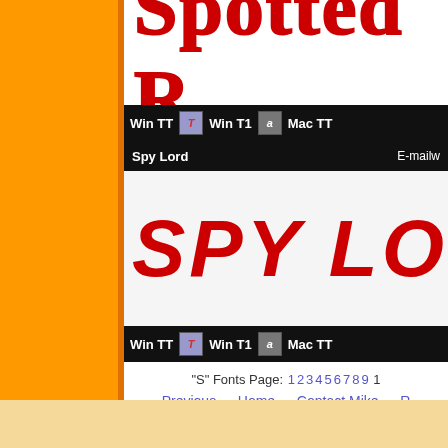[Figure (screenshot): Spotted font name banner in red dotted/spotted letters on white background, partially cropped]
Win TT  [icon]  Win T1  [icon]  Mac TT
Spy Lord   E-mailw...
[Figure (screenshot): Spy Lord font preview in large bold italic red letters on light background, partially cropped]
Win TT  [icon]  Win T1  [icon]  Mac TT
"S" Fonts Page: 1 2 3 4 5 6 7 8 9 1
Previous   Home   Contact Mike   R...
Copyright © 1998-2016 Mike Doughty, All Rights Reserved. Page Last Revised: October ... Privacy Policy